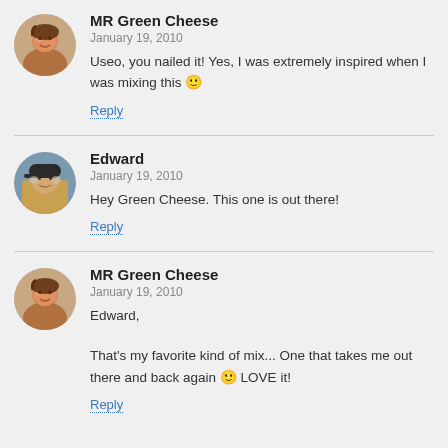MR Green Cheese
January 19, 2010
Useo, you nailed it! Yes, I was extremely inspired when I was mixing this 🙂
Reply
Edward
January 19, 2010
Hey Green Cheese. This one is out there!
Reply
MR Green Cheese
January 19, 2010
Edward,
That's my favorite kind of mix... One that takes me out there and back again 🙂 LOVE it!
Reply